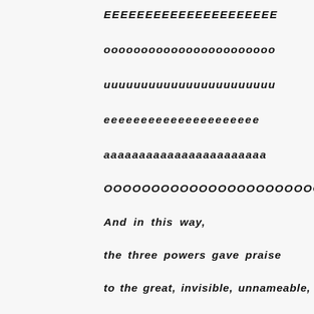EEEEEEEEEEEEEEEEEEEEE
ooooooooooooooooooooooo
uuuuuuuuuuuuuuuuuuuuuuu
eeeeeeeeeeeeeeeeeeeee
aaaaaaaaaaaaaaaaaaaaaaa
OOOOOOOOOOOOOOOOOOOOOOO
And in this way,
the three powers gave praise
to the great, invisible, unnameable,